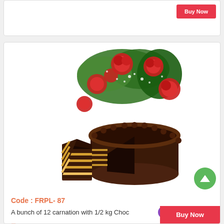[Figure (screenshot): Top partial product card with a Buy Now button (red) visible in the upper right]
[Figure (photo): Product image showing a bunch of 12 red carnations with greenery and a layered chocolate cake with a slice cut out]
Code : FRPL- 87
A bunch of 12 carnation with 1/2 kg Choc
₹ 999
US$ 18.16
[Figure (screenshot): Buy Now button at bottom right of the product card, partially visible]